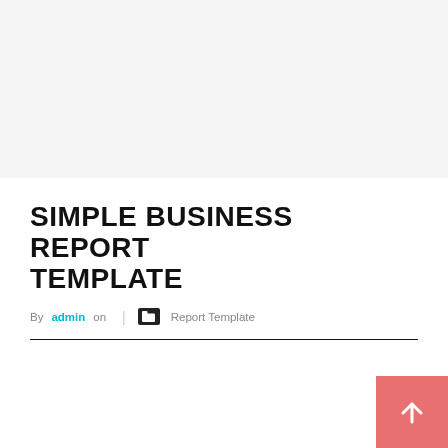SIMPLE BUSINESS REPORT TEMPLATE
By admin on | Report Template
[Figure (other): Scroll-to-top button: pink/salmon square with white upward arrow icon in bottom-right corner]